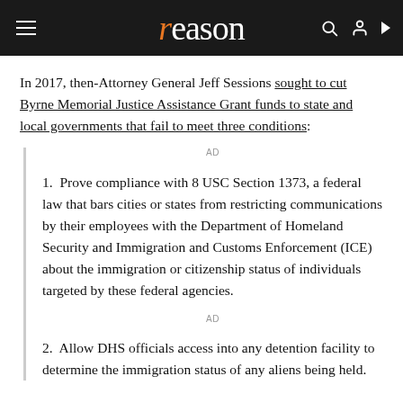reason
In 2017, then-Attorney General Jeff Sessions sought to cut Byrne Memorial Justice Assistance Grant funds to state and local governments that fail to meet three conditions:
1. Prove compliance with 8 USC Section 1373, a federal law that bars cities or states from restricting communications by their employees with the Department of Homeland Security and Immigration and Customs Enforcement (ICE) about the immigration or citizenship status of individuals targeted by these federal agencies.
2. Allow DHS officials access into any detention facility to determine the immigration status of any aliens being held.